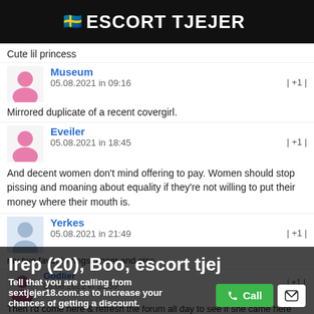ESCORT TJEJER
Cute lil princess
Museum
05.08.2021 in 09:16 | +1 |
Mirrored duplicate of a recent covergirl.
Eveiler
05.08.2021 in 18:45 | +1 |
And decent women don't mind offering to pay. Women should stop pissing and moaning about equality if they're not willing to put their money where their mouth is.
Yerkes
05.08.2021 in 21:49 | +1 |
my two favorite ringscancer and gins
Irep (20), Boo, escort tjej
Tell that you are calling from sextjejer18.com.se to increase your chances of getting a discount.
06.08.2021 in 13:59 | +1 |
Then i'd come here & refresh the forum all day to see if she came here